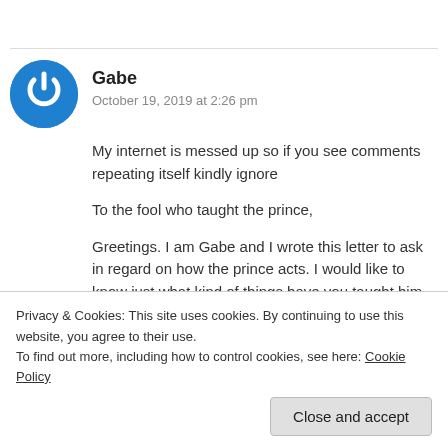Gabe
October 19, 2019 at 2:26 pm
My internet is messed up so if you see comments repeating itself kindly ignore
To the fool who taught the prince,
Greetings. I am Gabe and I wrote this letter to ask in regard on how the prince acts. I would like to know just what kind of things have you taught him for him a grow up to become such a
Privacy & Cookies: This site uses cookies. By continuing to use this website, you agree to their use.
To find out more, including how to control cookies, see here: Cookie Policy
Close and accept